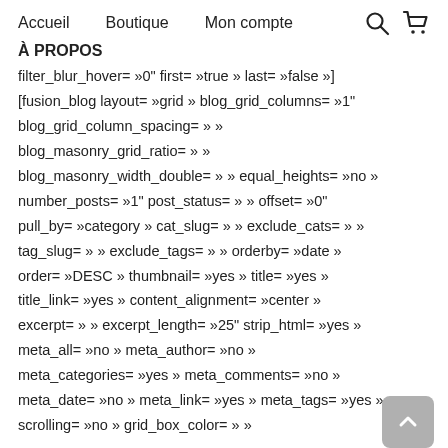Accueil   Boutique   Mon compte
À PROPOS
filter_blur_hover= »0" first= »true » last= »false »]
[fusion_blog layout= »grid » blog_grid_columns= »1"
blog_grid_column_spacing= » »
blog_masonry_grid_ratio= » »
blog_masonry_width_double= » » equal_heights= »no »
number_posts= »1" post_status= » » offset= »0"
pull_by= »category » cat_slug= » » exclude_cats= » »
tag_slug= » » exclude_tags= » » orderby= »date »
order= »DESC » thumbnail= »yes » title= »yes »
title_link= »yes » content_alignment= »center »
excerpt= » » excerpt_length= »25" strip_html= »yes »
meta_all= »no » meta_author= »no »
meta_categories= »yes » meta_comments= »no »
meta_date= »no » meta_link= »yes » meta_tags= »yes »
scrolling= »no » grid_box_color= » »